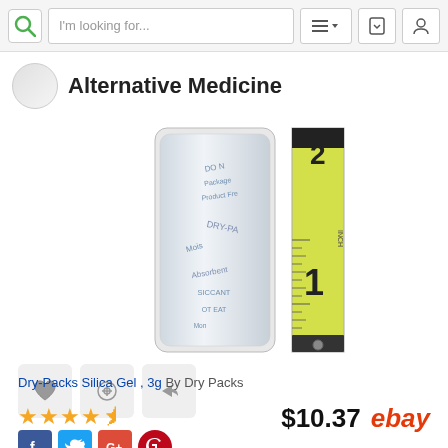I'm looking for...
Alternative Medicine
[Figure (photo): A Dry-Packs silica gel packet shown next to a ruler measuring approximately 2 inches in height]
Dry-Packs Silica Gel , 3g By Dry Packs
$10.37 ebay